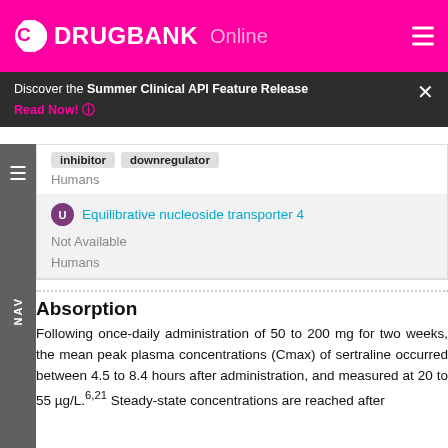DRUGBANK Online
Discover the Summer Clinical API Feature Release
Read Now!
inhibitor  downregulator
Humans
Equilibrative nucleoside transporter 4
Not Available
Humans
Absorption
Following once-daily administration of 50 to 200 mg for two weeks, the mean peak plasma concentrations (Cmax) of sertraline occurred between 4.5 to 8.4 hours after administration, and measured at 20 to 55 µg/L. Steady-state concentrations are reached after